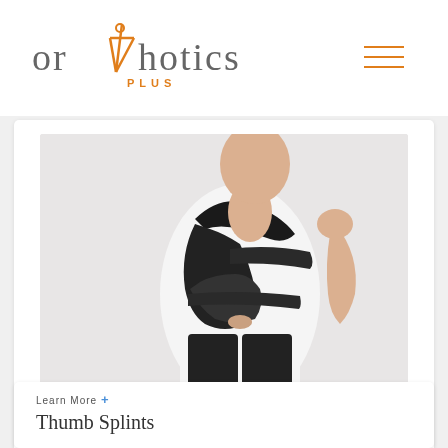CALL US (03) 9077 6414
[Figure (logo): Orthotics Plus logo with orange cross/person symbol and 'PLUS' subtitle]
[Figure (photo): A person wearing a black shoulder/arm sling orthotic brace, dressed in a white t-shirt and black pants, against a light grey background]
Learn More +
Thumb Splints